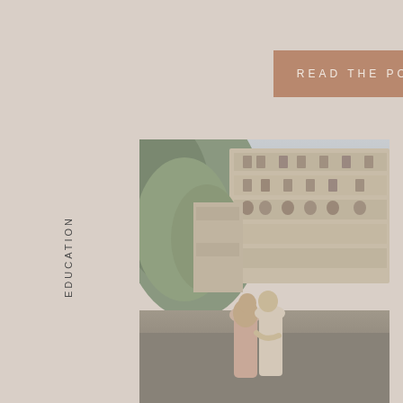READ THE POST
EDUCATION
[Figure (photo): A couple embracing in front of colorful stacked buildings on a hillside (Positano, Amalfi Coast), with the woman in a pink dress and the man in a light shirt]